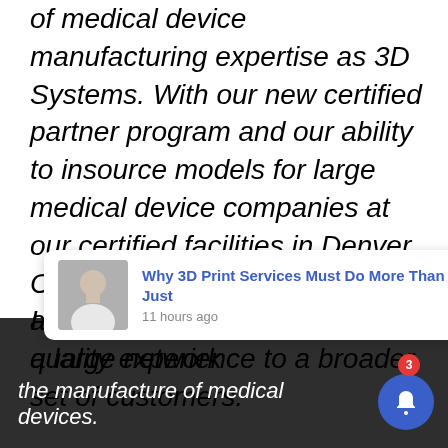of medical device manufacturing expertise as 3D Systems. With our new certified partner program and our ability to insource models for large medical device companies at our certified facilities in Denver, CO, and Leuven, Belgium, we are able to offer the same quality experience to a broader set of customers.
I believe they're trying to create a large network of certified healthcare partners that would those se— the manufacture of medical devices.
[Figure (screenshot): Notification card overlay showing a person's photo, headline 'Why 3D Print Services Must Do More Than Just' and timestamp '11 hours ago', with an X close button and a bell notification button with badge showing 3]